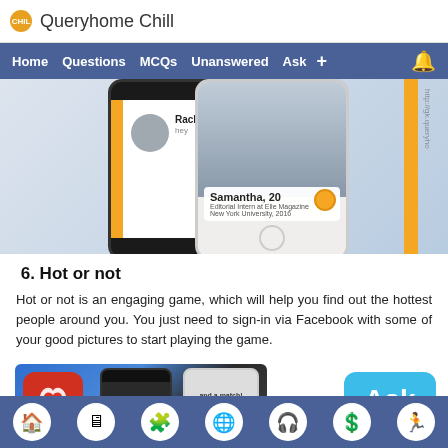Queryhome Chill
Home  Questions  MCQs  Unanswered  Ask  +
[Figure (screenshot): Tinder app screenshot showing two phone mockups with profile cards for Rachel and Samantha, 20, Editorial Intern at Elle Magazine, New York University, 2016]
6. Hot or not
Hot or not is an engaging game, which will help you find out the hottest people around you. You just need to sign-in via Facebook with some of your good pictures to start playing the game.
[Figure (screenshot): Hot or Not app screenshot showing app icon with flame and heart, and phone screens with match interface]
Home  Screen  Puzzle  Globe  Headphones  Dollar  Run icons in tab bar